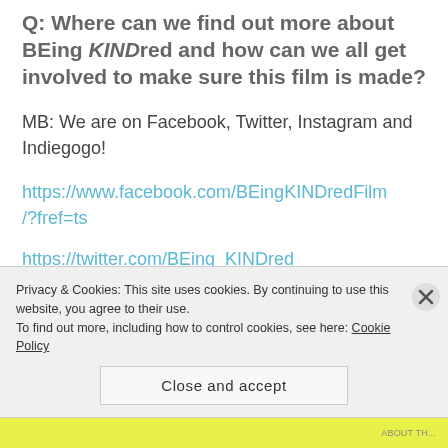Q: Where can we find out more about BEing KINDred and how can we all get involved to make sure this film is made?
MB: We are on Facebook, Twitter, Instagram and Indiegogo!
https://www.facebook.com/BEingKINDredFilm/?fref=ts
https://twitter.com/BEing_KINDred
Privacy & Cookies: This site uses cookies. By continuing to use this website, you agree to their use.
To find out more, including how to control cookies, see here: Cookie Policy
Close and accept